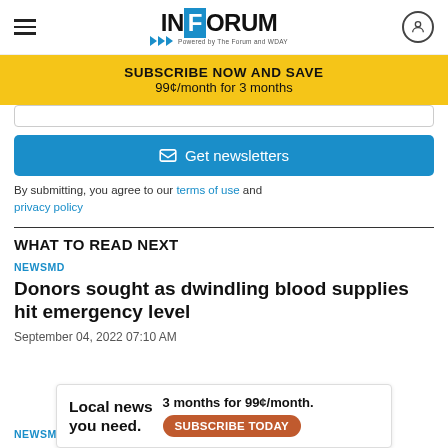INFORUM
[Figure (infographic): Yellow subscribe banner: SUBSCRIBE NOW AND SAVE, 99¢/month for 3 months]
[Figure (screenshot): Email newsletter signup form with Get newsletters button]
By submitting, you agree to our terms of use and privacy policy
WHAT TO READ NEXT
NEWSMD
Donors sought as dwindling blood supplies hit emergency level
September 04, 2022 07:10 AM
[Figure (infographic): Advertisement: Local news you need. 3 months for 99¢/month. SUBSCRIBE TODAY]
NEWSM